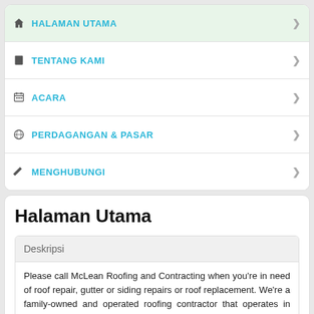HALAMAN UTAMA
TENTANG KAMI
ACARA
PERDAGANGAN & PASAR
MENGHUBUNGI
Halaman Utama
Deskripsi
Please call McLean Roofing and Contracting when you're in need of roof repair, gutter or siding repairs or roof replacement. We're a family-owned and operated roofing contractor that operates in McLean, Virginia.